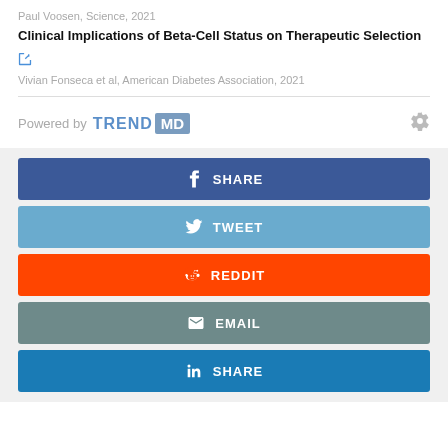Paul Voosen, Science, 2021
Clinical Implications of Beta-Cell Status on Therapeutic Selection
Vivian Fonseca et al, American Diabetes Association, 2021
[Figure (logo): Powered by TRENDMD logo with gear settings icon]
[Figure (infographic): Social share buttons: SHARE (Facebook, blue), TWEET (Twitter, light blue), REDDIT (orange), EMAIL (grey-green), SHARE (LinkedIn, blue)]